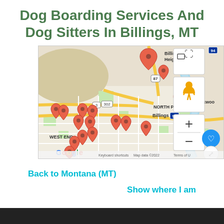Dog Boarding Services And Dog Sitters In Billings, MT
[Figure (map): Google Map showing dog boarding service locations in Billings, MT. Multiple red map pins are clustered around Billings and surrounding areas including Billings Heights, North Park, Lockwood, and West End. Map controls visible on right side including zoom in/out, street view person icon, and fullscreen button. Blue heart button and share button also visible. Google logo in bottom-left corner, with 'Keyboard shortcuts', 'Map data ©2022', and 'Terms of U' in bottom bar.]
Back to Montana (MT)
Show where I am